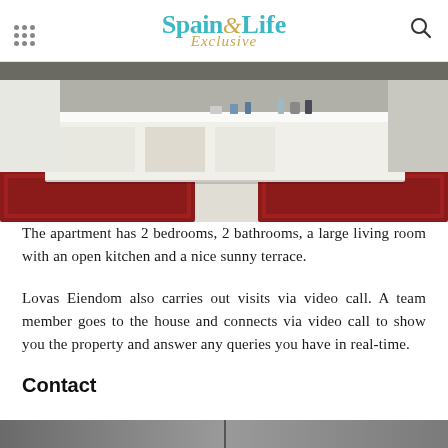Spain Life Exclusive
[Figure (photo): Interior photo of a modern apartment kitchen with a large white island counter, red patterned rugs on either side, and white cabinetry in the background]
The apartment has 2 bedrooms, 2 bathrooms, a large living room with an open kitchen and a nice sunny terrace.
Lovas Eiendom also carries out visits via video call. A team member goes to the house and connects via video call to show you the property and answer any queries you have in real-time.
Contact
[Figure (photo): Partial view of a photo strip at the bottom of the page]